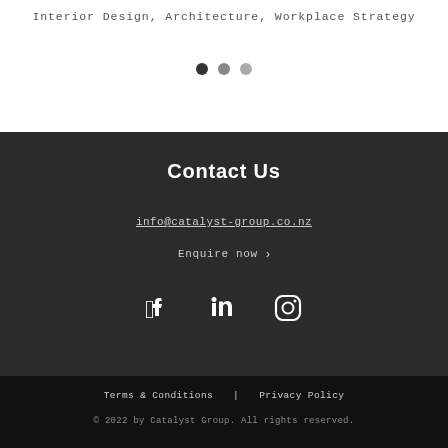Interior Design, Architecture, Workplace Strategy
[Figure (other): Three pagination dots: one dark, one medium grey, one light grey]
Contact Us
info@catalyst-group.co.nz
Enquire now ›
[Figure (other): Social media icons: Facebook, LinkedIn, Instagram]
Terms & Conditions | Privacy Policy
© 2022 by Catalyst Group. All rights reserved.